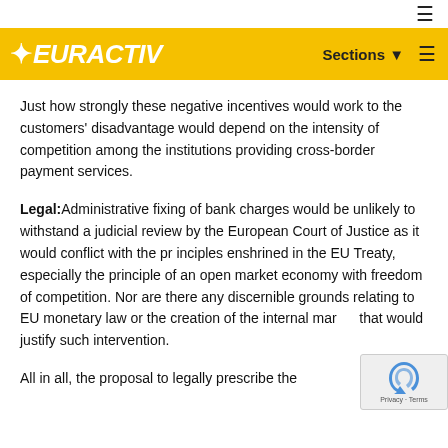EURACTIV
Just how strongly these negative incentives would work to the customers' disadvantage would depend on the intensity of competition among the institutions providing cross-border payment services.
Legal: Administrative fixing of bank charges would be unlikely to withstand a judicial review by the European Court of Justice as it would conflict with the pr inciples enshrined in the EU Treaty, especially the principle of an open market economy with freedom of competition. Nor are there any discernible grounds relating to EU monetary law or the creation of the internal mar that would justify such intervention.
All in all, the proposal to legally prescribe the